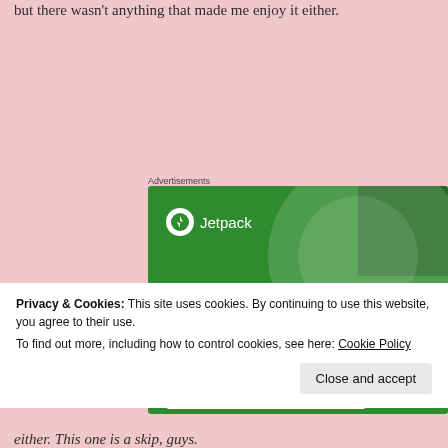but there wasn't anything that made me enjoy it either.
[Figure (screenshot): Jetpack advertisement banner on a pink background. Green background with white circle design and dots. Jetpack logo (lightning bolt icon) and name at top. Text reads: 'The best real-time WordPress backup plugin'. White button at bottom partially visible.]
Privacy & Cookies: This site uses cookies. By continuing to use this website, you agree to their use. To find out more, including how to control cookies, see here: Cookie Policy
either. This one is a skip, guys.